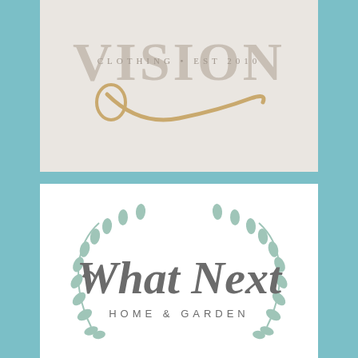[Figure (logo): Vision Clothing Est 2010 logo on light beige background. Text 'VISION' in large serif letters with a gold/tan script swash underneath, and 'CLOTHING • EST 2010' in small caps below.]
[Figure (logo): What Next Home & Garden logo on white background. Cursive script 'What Next' in dark gray, with 'HOME & GARDEN' in spaced caps below, surrounded by a wreath of mint green laurel branches.]